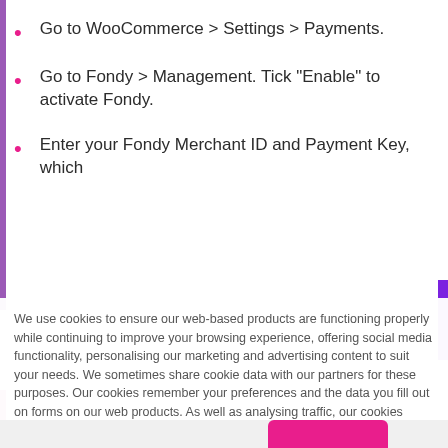Go to WooCommerce > Settings > Payments.
Go to Fondy > Management. Tick "Enable" to activate Fondy.
Enter your Fondy Merchant ID and Payment Key, which
We use cookies to ensure our web-based products are functioning properly while continuing to improve your browsing experience, offering social media functionality, personalising our marketing and advertising content to suit your needs. We sometimes share cookie data with our partners for these purposes. Our cookies remember your preferences and the data you fill out on forms on our web products. As well as analysing traffic, our cookies register how you found us and collect information about your browsing habits. By continuing to use our web products, you agree to our use of cookies. Learn more on the Privacy Policy and Privacy Notice pages.